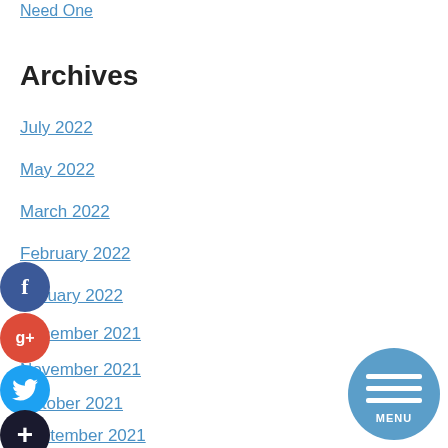Need One
Archives
July 2022
May 2022
March 2022
February 2022
January 2022
December 2021
November 2021
October 2021
September 2021
August 2021